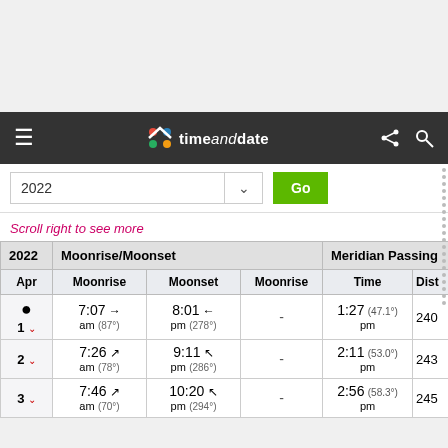[Figure (screenshot): timeanddate.com website navigation bar with hamburger menu, logo, share and search icons]
2022
Scroll right to see more
| 2022 | Moonrise/Moonset |  |  | Meridian Passing |  |
| --- | --- | --- | --- | --- | --- |
| Apr | Moonrise | Moonset | Moonrise | Time | Dista |
| ● 1 ˅ | 7:07 am (87°) → | 8:01 pm (278°) ← | - | 1:27 pm (47.1°) | 240 |
| 2 ˅ | 7:26 am (78°) ↗ | 9:11 pm (286°) ↖ | - | 2:11 pm (53.0°) | 243 |
| 3 ˅ | 7:46 am (70°) ↗ | 10:20 pm (294°) ↖ | - | 2:56 pm (58.3°) | 245 |